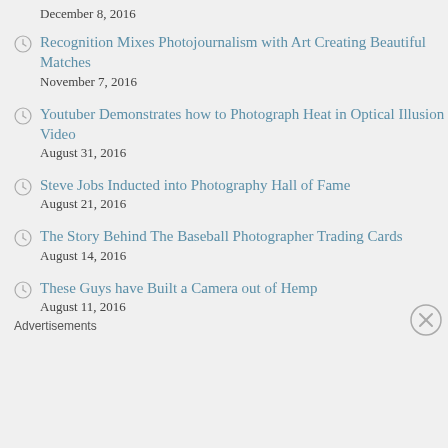December 8, 2016
Recognition Mixes Photojournalism with Art Creating Beautiful Matches
November 7, 2016
Youtuber Demonstrates how to Photograph Heat in Optical Illusion Video
August 31, 2016
Steve Jobs Inducted into Photography Hall of Fame
August 21, 2016
The Story Behind The Baseball Photographer Trading Cards
August 14, 2016
These Guys have Built a Camera out of Hemp
August 11, 2016
Advertisements